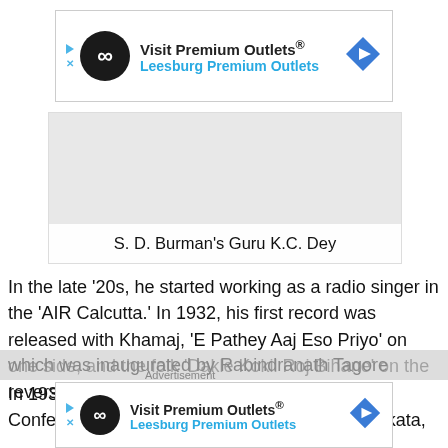[Figure (other): Advertisement banner for Visit Premium Outlets / Leesburg Premium Outlets with logo and navigation arrow icon]
[Figure (other): Image placeholder with caption: S. D. Burman's Guru K.C. Dey]
S. D. Burman's Guru K.C. Dey
In the late ‘20s, he started working as a radio singer in the ‘AIR Calcutta.’ In 1932, his first record was released with Khamaj, ‘E Pathey Aaj Eso Priyo’ on one side, and the folk ‘Dakle Kokil Roj Bihane’ on the reverse side with the Hindustan records.
In 1934, he sang Thumri at the ‘All India Music Conference’ and Bengal Music Conference, Kolkata,
which was inaugurated by Rabindranath Tagore
[Figure (other): Advertisement banner for Visit Premium Outlets / Leesburg Premium Outlets (bottom)]